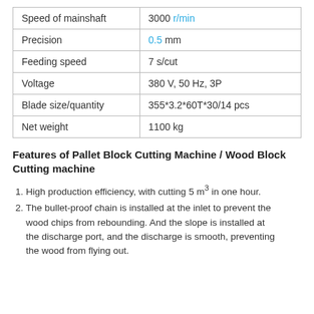| Parameter | Value |
| --- | --- |
| Speed of mainshaft | 3000 r/min |
| Precision | 0.5 mm |
| Feeding speed | 7 s/cut |
| Voltage | 380 V, 50 Hz, 3P |
| Blade size/quantity | 355*3.2*60T*30/14 pcs |
| Net weight | 1100 kg |
Features of Pallet Block Cutting Machine / Wood Block Cutting machine
High production efficiency, with cutting 5 m³ in one hour.
The bullet-proof chain is installed at the inlet to prevent the wood chips from rebounding. And the slope is installed at the discharge port, and the discharge is smooth, preventing the wood from flying out.